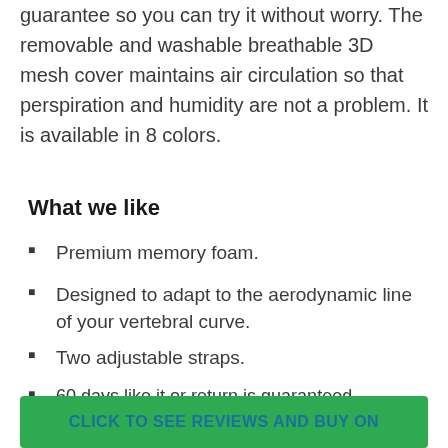guarantee so you can try it without worry. The removable and washable breathable 3D mesh cover maintains air circulation so that perspiration and humidity are not a problem. It is available in 8 colors.
What we like
Premium memory foam.
Designed to adapt to the aerodynamic line of your vertebral curve.
Two adjustable straps.
60 days like it or return is guaranteed.
Over 3505+ customer reviews.
CLICK TO SEE REVIEWS AND BUY ON